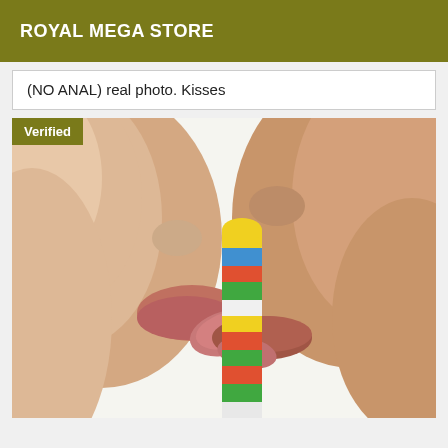ROYAL MEGA STORE
(NO ANAL) real photo. Kisses
[Figure (photo): Close-up photo of two people licking a colorful striped lollipop/candy from both sides, with a 'Verified' badge overlay in the top-left corner]